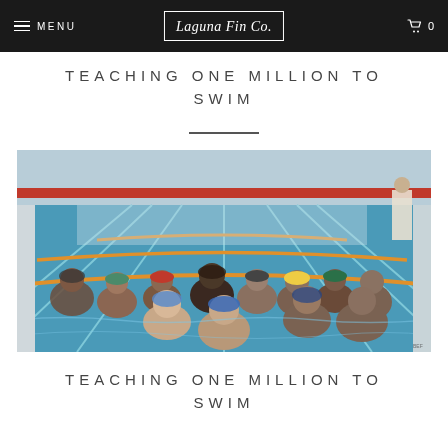MENU | Laguna Fin Co. | 0
TEACHING ONE MILLION TO SWIM
[Figure (photo): Children and a coach in an indoor swimming pool during a swim lesson. The pool has multiple lanes with lane dividers. Kids are smiling at the camera from inside the water, wearing swim caps and goggles. The pool facility has a red accent stripe on the far wall.]
TEACHING ONE MILLION TO SWIM